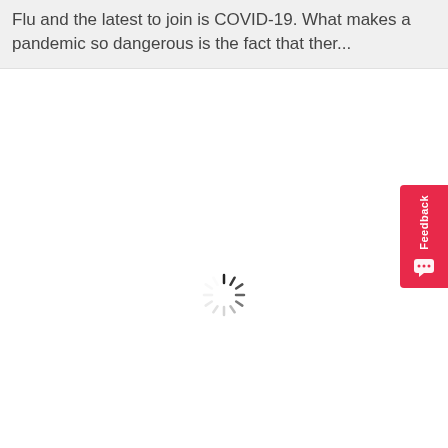Flu and the latest to join is COVID-19. What makes a pandemic so dangerous is the fact that ther...
[Figure (other): Feedback tab on right side with chat icon]
[Figure (other): Loading spinner animation in center of page]